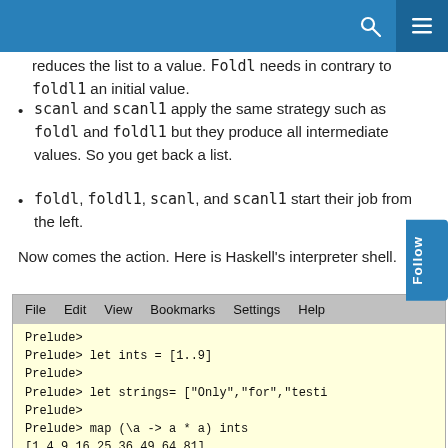reduces the list to a value. Foldl needs in contrary to foldl1 an initial value.
scanl and scanl1 apply the same strategy such as foldl and foldl1 but they produce all intermediate values. So you get back a list.
foldl, foldl1, scanl, and scanl1 start their job from the left.
Now comes the action. Here is Haskell's interpreter shell.
[Figure (screenshot): Terminal window showing Haskell GHCi interpreter session with menu bar (File Edit View Bookmarks Settings Help) and commands: let ints = [1..9], let strings= ["Only","for","testi..."], map (\a -> a * a) ints producing [1,4,9,16,25,36,49,64,81], scanl (*) 1 ints producing [1,1,2,6,24,120,720,5040,40320,362880]]